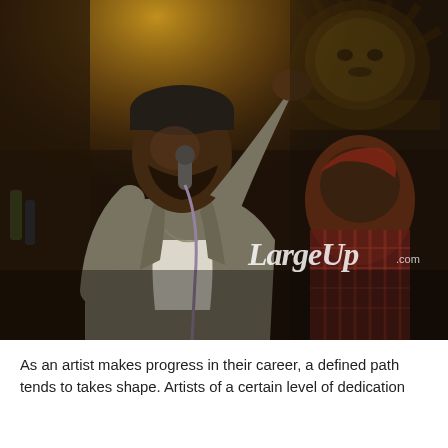[Figure (photo): A male rapper performing on stage, singing into a microphone with one arm raised, wearing a grey jacket over a white shirt and a dark beanie. Another person in a plaid shirt and head wrap is visible in the background. A lion mural is visible on the wall behind. A 'LargeUp' watermark logo is in the lower right corner of the photo.]
As an artist makes progress in their career, a defined path tends to takes shape. Artists of a certain level of dedication